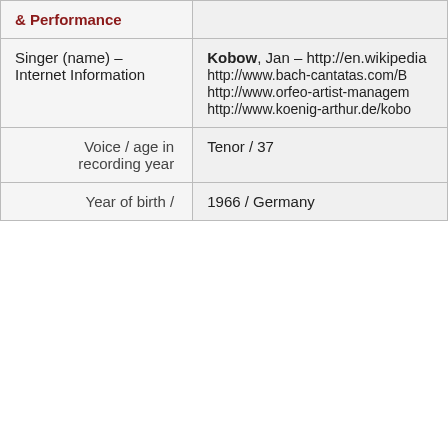|  |  |
| --- | --- |
| & Performance |  |
| Singer (name) – Internet Information | Kobow, Jan – http://en.wikipedia http://www.bach-cantatas.com/B http://www.orfeo-artist-managem http://www.koenig-arthur.de/kobo |
| Voice / age in recording year | Tenor / 37 |
| Year of birth / | 1966 / Germany |
Deze website gebruikt cookies om bezoekersstatistieken te meten en om social media knoppen te tonen. Door op ok te klikken accepteert u deze cookies. Meer weten over ons privacybeleid? Klik hier van de Privacy verklaring.